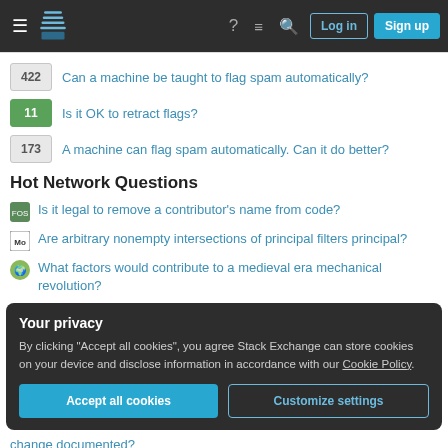Stack Exchange navigation bar with hamburger menu, logo, help, chat, search icons, Log in and Sign up buttons
422 Can a machine be taught to flag spam automatically?
11 Is it OK to retract flags?
173 A machine can flag spam automatically. Can it do better?
Hot Network Questions
Is it legal to remove a contributor's name from code?
Are arbitrary nonempty intersections of principal filters principal?
What factors would contribute to a medieval era mechanical revolution?
Your privacy
By clicking "Accept all cookies", you agree Stack Exchange can store cookies on your device and disclose information in accordance with our Cookie Policy.
Accept all cookies | Customize settings
change documented?